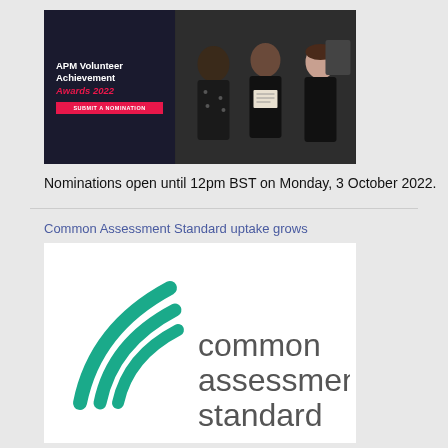[Figure (photo): APM Volunteer Achievement Awards 2022 banner with three people posed together holding a certificate, dark background]
Nominations open until 12pm BST on Monday, 3 October 2022.
Common Assessment Standard uptake grows
[Figure (logo): Common Assessment Standard logo — teal swoosh marks on the left, grey text reading 'common assessment standard' on the right]